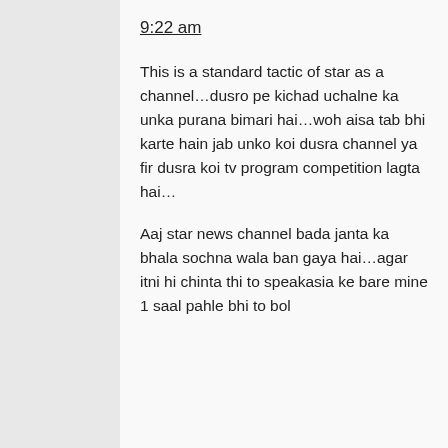9:22 am
This is a standard tactic of star as a channel…dusro pe kichad uchalne ka unka purana bimari hai…woh aisa tab bhi karte hain jab unko koi dusra channel ya fir dusra koi tv program competition lagta hai…
Aaj star news channel bada janta ka bhala sochna wala ban gaya hai…agar itni hi chinta thi to speakasia ke bare mine 1 saal pahle bhi to bol dete…the...told too DDI